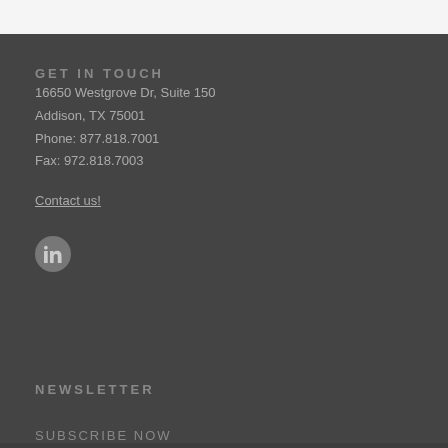GET IN TOUCH
16650 Westgrove Dr, Suite 150
Addison, TX 75001
Phone: 877.818.7001
Fax: 972.818.7003
Contact us!
[Figure (logo): LinkedIn icon — circular grey button with 'in' logo]
NEWSLETTER
SUBSCRIBE NOW